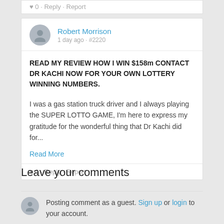♥ 0 · Reply · Report
Robert Morrison
1 day ago · #2220
READ MY REVIEW HOW I WIN $158m CONTACT DR KACHI NOW FOR YOUR OWN LOTTERY WINNING NUMBERS.
I was a gas station truck driver and I always playing the SUPER LOTTO GAME, I'm here to express my gratitude for the wonderful thing that Dr Kachi did for...
Read More
♥ 0 · Reply · Report
Leave your comments
Posting comment as a guest. Sign up or login to your account.